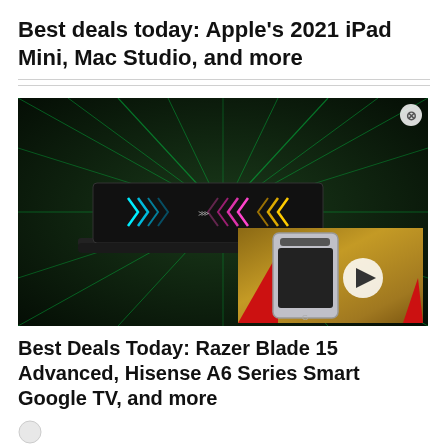Best deals today: Apple's 2021 iPad Mini, Mac Studio, and more
[Figure (photo): Gaming laptop with neon chevron light display on screen, in a dark room with green laser light rays; overlaid with a picture-in-picture video thumbnail showing a smartphone being held with red fabric, and a play button]
Best Deals Today: Razer Blade 15 Advanced, Hisense A6 Series Smart Google TV, and more
[Figure (other): Small circular icon at the bottom left]